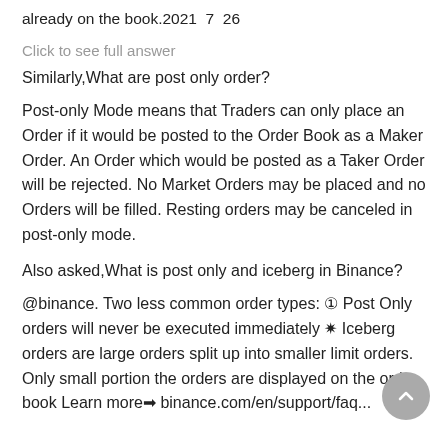already on the book.2021  7  26
Click to see full answer
Similarly,What are post only order?
Post-only Mode means that Traders can only place an Order if it would be posted to the Order Book as a Maker Order. An Order which would be posted as a Taker Order will be rejected. No Market Orders may be placed and no Orders will be filled. Resting orders may be canceled in post-only mode.
Also asked,What is post only and iceberg in Binance?
@binance. Two less common order types: ① Post Only orders will never be executed immediately ✷ Iceberg orders are large orders split up into smaller limit orders. Only small portion the orders are displayed on the order book Learn more➡ binance.com/en/support/faq...